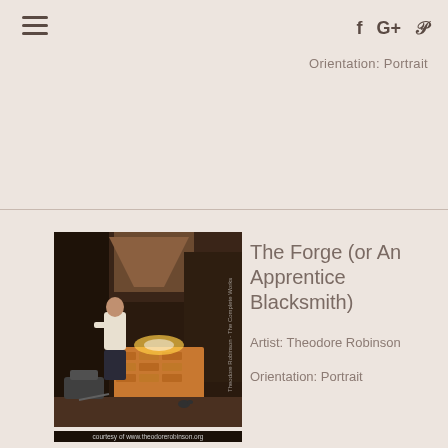Orientation: Portrait
[Figure (photo): Painting titled 'The Forge (or An Apprentice Blacksmith)' by Theodore Robinson, showing a boy working at a forge in a dark workshop interior. Courtesy of www.theodorerobinson.org]
The Forge (or An Apprentice Blacksmith)
Artist: Theodore Robinson
Orientation: Portrait